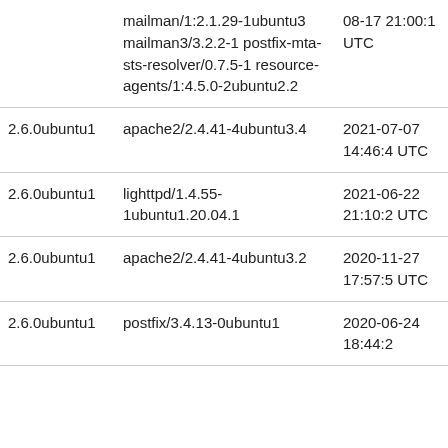|  | mailman/1:2.1.29-1ubuntu3 mailman3/3.2.2-1 postfix-mta-sts-resolver/0.7.5-1 resource-agents/1:4.5.0-2ubuntu2.2 | 08-17 21:00:1 UTC |
| 2.6.0ubuntu1 | apache2/2.4.41-4ubuntu3.4 | 2021-07-07 14:46:4 UTC |
| 2.6.0ubuntu1 | lighttpd/1.4.55-1ubuntu1.20.04.1 | 2021-06-22 21:10:2 UTC |
| 2.6.0ubuntu1 | apache2/2.4.41-4ubuntu3.2 | 2020-11-27 17:57:5 UTC |
| 2.6.0ubuntu1 | postfix/3.4.13-0ubuntu1 | 2020-06-24 18:44:2 |